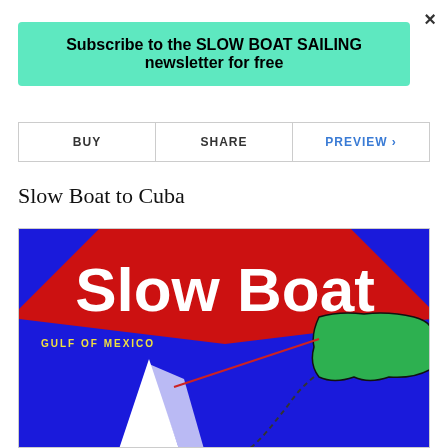×
Subscribe to the SLOW BOAT SAILING newsletter for free
BUY | SHARE | PREVIEW ›
Slow Boat to Cuba
[Figure (illustration): Book cover for 'Slow Boat to Cuba' showing bold white text on red banner, blue background with a sailboat, 'GULF OF MEXICO' text in yellow, and a green map of Cuba on the right side.]